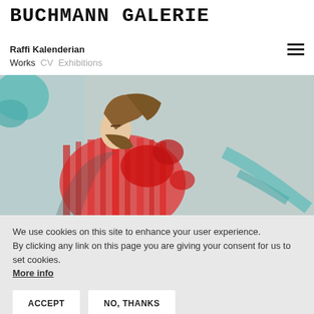BUCHMANN GALERIE
Raffi Kalenderian
Works  CV  Exhibitions
[Figure (illustration): Painting of a man with a beard wearing a red striped shirt, seated, painted in expressive style with teal/blue background and red paint splatters]
We use cookies on this site to enhance your user experience.
By clicking any link on this page you are giving your consent for us to set cookies.
More info
ACCEPT    NO, THANKS